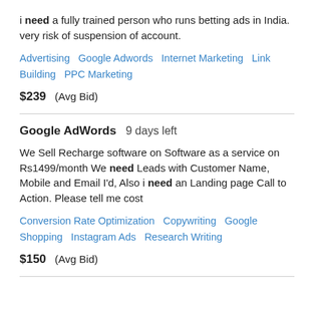i need a fully trained person who runs betting ads in India. very risk of suspension of account.
Advertising   Google Adwords   Internet Marketing   Link Building   PPC Marketing
$239  (Avg Bid)
Google AdWords  9 days left
We Sell Recharge software on Software as a service on Rs1499/month We need Leads with Customer Name, Mobile and Email I'd, Also i need an Landing page Call to Action. Please tell me cost
Conversion Rate Optimization   Copywriting   Google Shopping   Instagram Ads   Research Writing
$150  (Avg Bid)